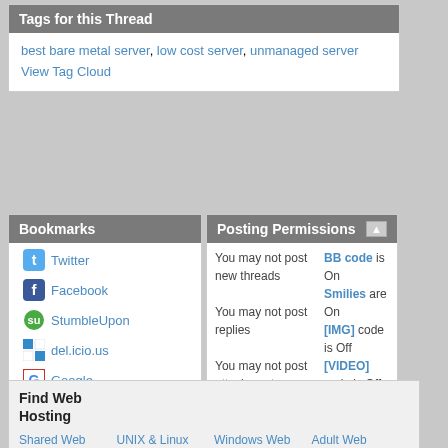Tags for this Thread
best bare metal server, low cost server, unmanaged server
View Tag Cloud
Bookmarks
Twitter
Facebook
StumbleUpon
del.icio.us
Google
Digg
Posting Permissions
You may not post new threads
You may not post replies
You may not post attachments
You may not edit your posts
BB code is On
Smilies are On
[IMG] code is Off
[VIDEO] code is Off
HTML code is Off
Forum Rules
Find Web Hosting
Shared Web Hosting  UNIX & Linux Web Hosting  Windows Web Hosting  Adult Web Hosting
ASP ASP.NET  Reseller Web  VPS Web  Managed